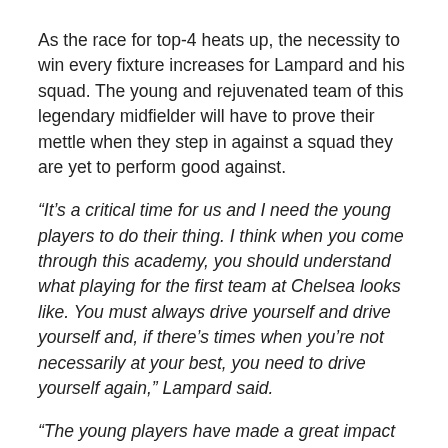As the race for top-4 heats up, the necessity to win every fixture increases for Lampard and his squad. The young and rejuvenated team of this legendary midfielder will have to prove their mettle when they step in against a squad they are yet to perform good against.
“It’s a critical time for us and I need the young players to do their thing. I think when you come through this academy, you should understand what playing for the first team at Chelsea looks like. You must always drive yourself and drive yourself and, if there’s times when you’re not necessarily at your best, you need to drive yourself again,” Lampard said.
“The young players have made a great impact this season and we’ve had reliance on them to a degree, because we knew we couldn’t bring anyone in at the start. Through the season I think there are going to be some difficult times and, if you do…